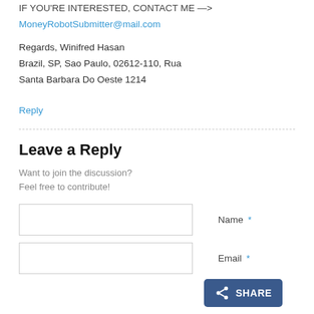IF YOU'RE INTERESTED, CONTACT ME -->
MoneyRobotSubmitter@mail.com
Regards, Winifred Hasan
Brazil, SP, Sao Paulo, 02612-110, Rua
Santa Barbara Do Oeste 1214
Reply
Leave a Reply
Want to join the discussion?
Feel free to contribute!
Name *
Email *